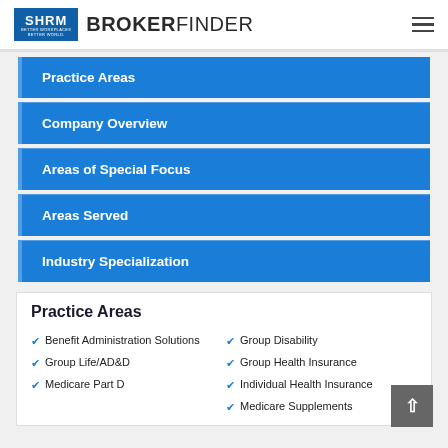SHRM BROKERFINDER
Practice Areas
Company Overview
Areas of Special Focus
Areas Served
Industry Specialization
Practice Areas
Benefit Administration Solutions
Group Disability
Group Life/AD&D
Group Health Insurance
Medicare Part D
Individual Health Insurance
Medicare Supplements